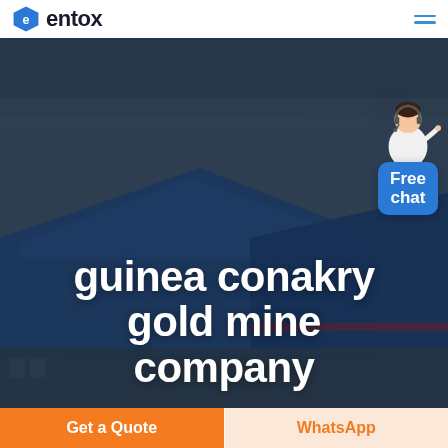entox (logo)
[Figure (photo): Aerial view of large industrial mining/warehouse facility with blue rooftops, used as hero background image]
guinea conakry gold mine company
[Figure (illustration): Customer service representative figure with Free chat bubble widget in top-right of hero area]
Get a Quote
WhatsApp